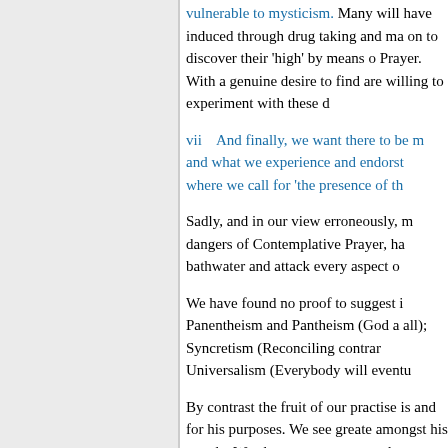vulnerable to mysticism. Many will have induced through drug taking and ma... on to discover their 'high' by means of Prayer. With a genuine desire to find... are willing to experiment with these d...
vii   And finally, we want there to be r... and what we experience and endors... where we call for 'the presence of th...
Sadly, and in our view erroneously, m... dangers of Contemplative Prayer, ha... bathwater and attack every aspect o...
We have found no proof to suggest i... Panentheism and Pantheism (God a... all); Syncretism (Reconciling contr... Universalism (Everybody will eventu...
By contrast the fruit of our practise is... and for his purposes. We see greate... amongst his people. We also see a... supernatural encounters and increas... see a deep gratitude for the work of...